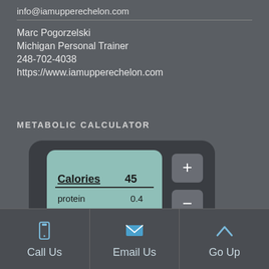info@iamupperechelon.com
Marc Pogorzelski
Michigan Personal Trainer
248-702-4038
https://www.iamupperechelon.com
METABOLIC CALCULATOR
[Figure (photo): A handheld calculator device with a teal/green screen showing 'Calories 45' and 'protein 0.4', with plus and minus buttons on the right side, set against a dark gray background.]
Call Us | Email Us | Go Up